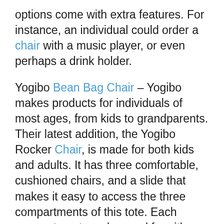options come with extra features. For instance, an individual could order a chair with a music player, or even perhaps a drink holder.
Yogibo Bean Bag Chair – Yogibo makes products for individuals of most ages, from kids to grandparents. Their latest addition, the Yogibo Rocker Chair, is made for both kids and adults. It has three comfortable, cushioned chairs, and a slide that makes it easy to access the three compartments of this tote. Each compartment can be used for either storage or even as a footrest. The bean bag is constructed of durable polyester and is washable or dry-cleaned. Offered in five unique colours, this chair is good for both kids and adults.